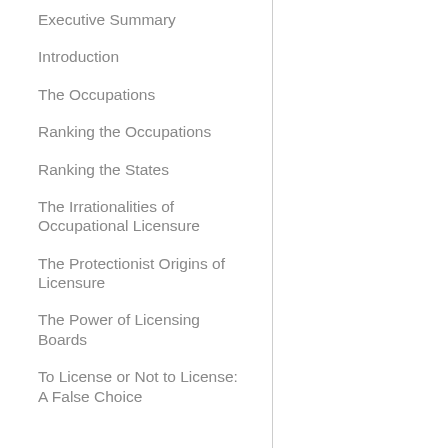Executive Summary
Introduction
The Occupations
Ranking the Occupations
Ranking the States
The Irrationalities of Occupational Licensure
The Protectionist Origins of Licensure
The Power of Licensing Boards
To License or Not to License: A False Choice